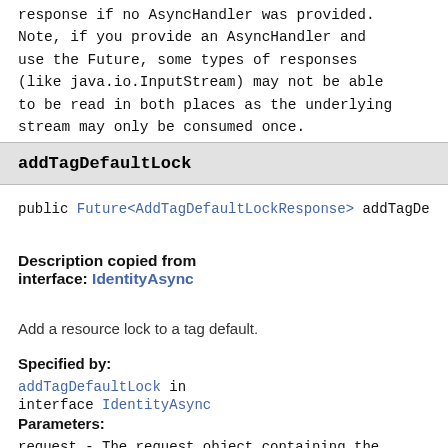response if no AsyncHandler was provided. Note, if you provide an AsyncHandler and use the Future, some types of responses (like java.io.InputStream) may not be able to be read in both places as the underlying stream may only be consumed once.
addTagDefaultLock
public Future<AddTagDefaultLockResponse> addTagDe...
Description copied from interface: IdentityAsync
Add a resource lock to a tag default.
Specified by:
addTagDefaultLock in interface IdentityAsync
Parameters:
request - The request object containing the details to send.